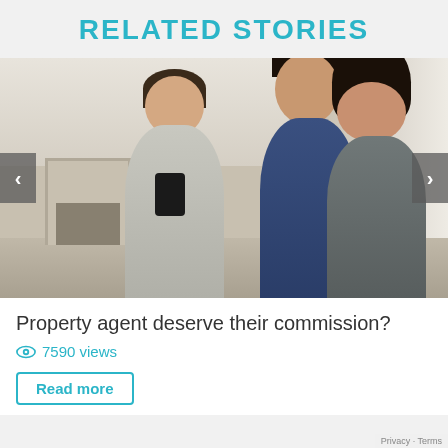RELATED STORIES
[Figure (photo): A real estate agent showing a property to a couple inside a home. The agent, a woman in a light blazer, holds a tablet/clipboard. A man in a blue shirt and a woman in a gray jacket look upward at the property features.]
Property agent deserve their commission?
7590 views
Read more